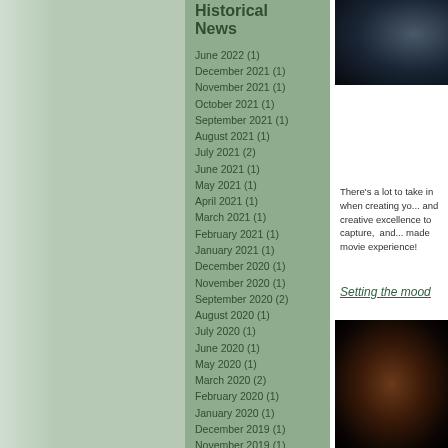Historical News
June 2022 (1)
December 2021 (1)
November 2021 (1)
October 2021 (1)
September 2021 (1)
August 2021 (1)
July 2021 (2)
June 2021 (1)
May 2021 (1)
April 2021 (1)
March 2021 (1)
February 2021 (1)
January 2021 (1)
December 2020 (1)
November 2020 (1)
September 2020 (2)
August 2020 (1)
July 2020 (1)
June 2020 (1)
May 2020 (1)
March 2020 (2)
February 2020 (1)
January 2020 (1)
December 2019 (1)
November 2019 (1)
October 2019 (1)
September 2019 (1)
August 2019 (1)
July 2019 (1)
June 2019 (1)
May 2019 (1)
April 2019 (2)
March 2019 (1)
February 2019 (1)
[Figure (photo): Dark blue/black abstract photo, top right]
There’s a lot to take in when creating yo... and creative excellence to capture, and... made movie experience!
Setting the mood
[Figure (photo): Dark warm-toned photo, bottom right]